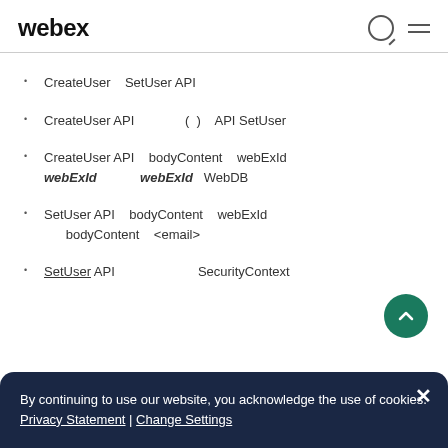webex
CreateUser  SetUser API
CreateUser API  ( )  API SetUser
CreateUser API  bodyContent  webExId
webExId  webExId  WebDB
SetUser API  bodyContent  webExId
bodyContent  <email>
SetUser API  SecurityContext
By continuing to use our website, you acknowledge the use of cookies. Privacy Statement | Change Settings